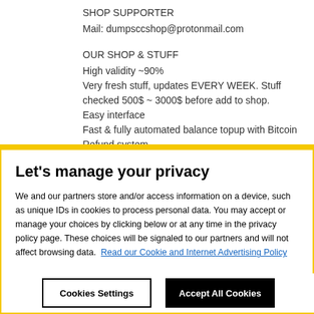SHOP SUPPORTER
Mail: dumpsccshop@protonmail.com
OUR SHOP & STUFF
High validity ~90%
Very fresh stuff, updates EVERY WEEK. Stuff checked 500$ ~ 3000$ before add to shop.
Easy interface
Fast & fully automated balance topup with Bitcoin
Refund system
Let's manage your privacy
We and our partners store and/or access information on a device, such as unique IDs in cookies to process personal data. You may accept or manage your choices by clicking below or at any time in the privacy policy page. These choices will be signaled to our partners and will not affect browsing data.  Read our Cookie and Internet Advertising Policy
Cookies Settings
Accept All Cookies